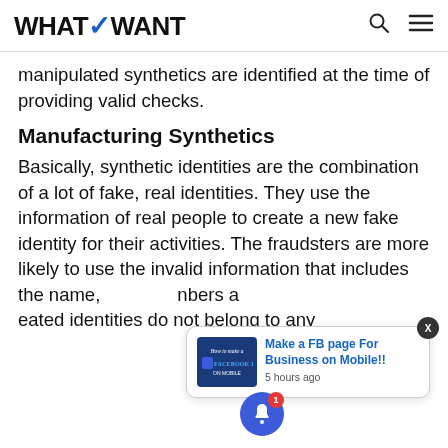WHATVWANT
manipulated synthetics are identified at the time of providing valid checks.
Manufacturing Synthetics
Basically, synthetic identities are the combination of a lot of fake, real identities. They use the information of real people to create a new fake identity for their activities. The fraudsters are more likely to use the invalid information that includes the name, numbers a... eated identities do not belong to any
[Figure (screenshot): Notification popup showing 'Make a FB page For Business on Mobile!! 5 hours ago' with a thumbnail image, close button X, and a blue bell notification button with badge '1' at bottom left.]